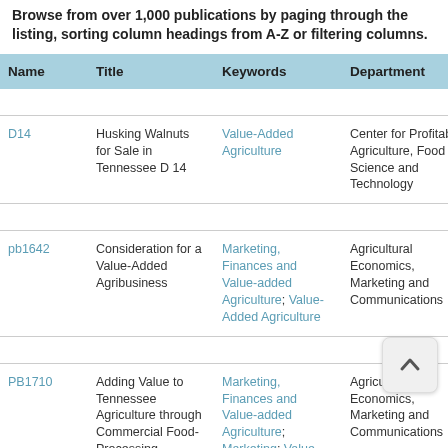Browse from over 1,000 publications by paging through the listing, sorting column headings from A-Z or filtering columns.
| Name | Title | Keywords | Department | FocusArea | Program |
| --- | --- | --- | --- | --- | --- |
| D14 | Husking Walnuts for Sale in Tennessee D 14 | Value-Added Agriculture | Center for Profitable Agriculture, Food Science and Technology | Value Added Agriculture | ANR and CED |
| pb1642 | Consideration for a Value-Added Agribusiness | Marketing, Finances and Value-added Agriculture; Value-Added Agriculture | Agricultural Economics, Marketing and Communications | Value Added Agriculture | ANR and CED |
| PB1710 | Adding Value to Tennessee Agriculture through Commercial Food-Processing Enterprises | Marketing, Finances and Value-added Agriculture; Marketing; Value-Added Agriculture | Agricultural Economics, Marketing and Communications | Value Added Agriculture | ANR and CED |
| PB1719 | How to Get... | Marketing... | Agricultural... | Value... | ANR and... |